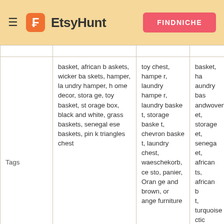EtsyHunt | FINDNICHE
|  | Col1 | Col2 | Col3 |
| --- | --- | --- | --- |
| Tags | basket, african baskets, wicker baskets, hamper, laundry hamper, home decor, storage, toy basket, storage box, black and white, grass baskets, senegalese baskets, pink triangles chest | toy chest, hamper, laundry hamper, laundry basket, storage basket, chevron basket, laundry chest, waeschekorb, cesto, panier, Orange and brown, orange furniture | basket, ha... aundry bas... andwoven... et, storage et, senega et, african ts, african b t, turquoise ctic basket ers, cesto, ekorb |
| Price | $26999 | $34999 | $36999 |
| Favorites | 2119 | 1345 | 934 |